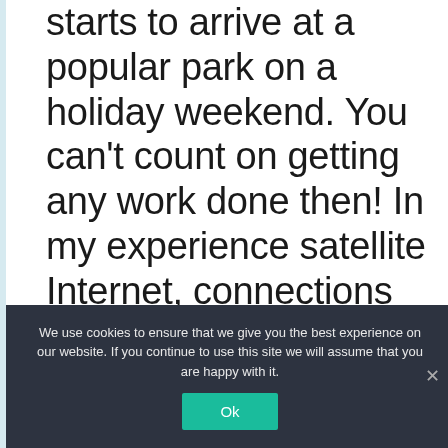starts to arrive at a popular park on a holiday weekend. You can’t count on getting any work done then! In my experience satellite Internet, connections are the best RV internet options.
For more details this internet
We use cookies to ensure that we give you the best experience on our website. If you continue to use this site we will assume that you are happy with it.